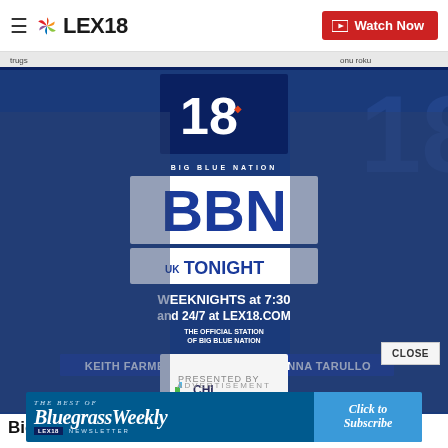LEX18 — Watch Now
[Figure (photo): BBN Tonight promo image featuring Keith Farmer and Anna Tarullo with LEX18/NBCaffiliate branding, Big Blue Nation, CHI Saint Joseph Health sponsor, weeknights at 7:30 and 24/7 at LEX18.COM]
Big Blue Nation - Weeknights at
ADVERTISEMENT
[Figure (other): Bluegrass Weekly Newsletter advertisement banner — The Best Of BluegrassWeekly Newsletter, LEX18, Click to Subscribe]